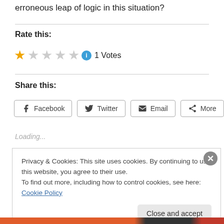erroneous leap of logic in this situation?
Rate this:
★☆☆☆☆ ⓘ 1 Votes
Share this:
Facebook
Twitter
Email
More
Loading...
Privacy & Cookies: This site uses cookies. By continuing to use this website, you agree to their use.
To find out more, including how to control cookies, see here: Cookie Policy
Close and accept